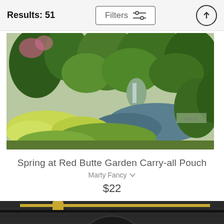Results: 51
[Figure (screenshot): Filters button with sliders icon]
[Figure (photo): Garden photo showing spring scene at Red Butte Garden with waterfall, pond, green foliage and flowers]
Spring at Red Butte Garden Carry-all Pouch
Marty Fancy
$22
[Figure (photo): Partially visible carry-all pouch product with dark wood grain background, gold zipper, and circular design with red and white elements]